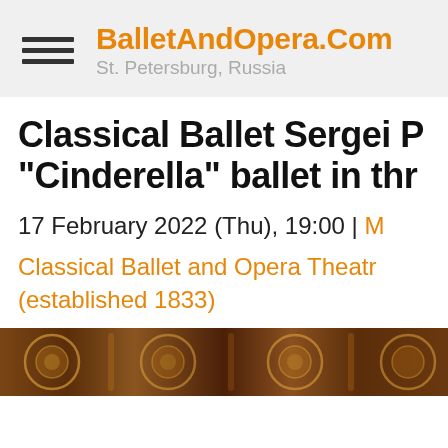BalletAndOpera.Com — St. Petersburg, Russia
Classical Ballet Sergei P "Cinderella" ballet in thr
17 February 2022 (Thu), 19:00 | M
Classical Ballet and Opera Theatr (established 1833)
[Figure (photo): Dark background photo showing decorative medallion/costume elements with amber and orange tones, typical of a ballet theater production]